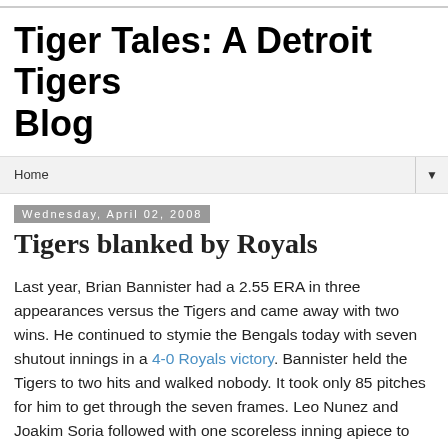Tiger Tales: A Detroit Tigers Blog
Home
Wednesday, April 02, 2008
Tigers blanked by Royals
Last year, Brian Bannister had a 2.55 ERA in three appearances versus the Tigers and came away with two wins. He continued to stymie the Bengals today with seven shutout innings in a 4-0 Royals victory. Bannister held the Tigers to two hits and walked nobody. It took only 85 pitches for him to get through the seven frames. Leo Nunez and Joakim Soria followed with one scoreless inning apiece to complete the shutout.
Kenny Rogers pitched well for the Tigers allowing two runs in...